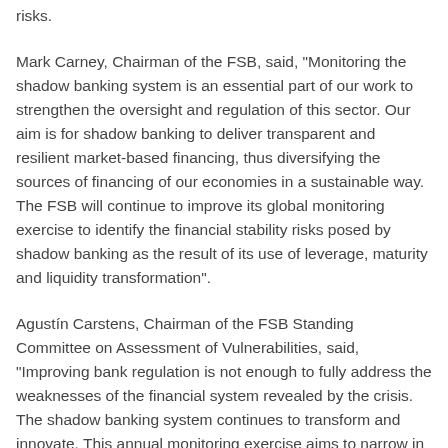risks.
Mark Carney, Chairman of the FSB, said, "Monitoring the shadow banking system is an essential part of our work to strengthen the oversight and regulation of this sector. Our aim is for shadow banking to deliver transparent and resilient market-based financing, thus diversifying the sources of financing of our economies in a sustainable way. The FSB will continue to improve its global monitoring exercise to identify the financial stability risks posed by shadow banking as the result of its use of leverage, maturity and liquidity transformation".
Agustín Carstens, Chairman of the FSB Standing Committee on Assessment of Vulnerabilities, said, "Improving bank regulation is not enough to fully address the weaknesses of the financial system revealed by the crisis. The shadow banking system continues to transform and innovate. This annual monitoring exercise aims to narrow in on new risks to the financial system